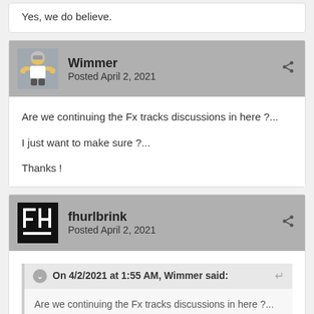Yes, we do believe.
Wimmer
Posted April 2, 2021
Are we continuing the Fx tracks discussions in here ?...

I just want to make sure ?...

Thanks !
fhurlbrink
Posted April 2, 2021
On 4/2/2021 at 1:55 AM, Wimmer said:
Are we continuing the Fx tracks discussions in here ?...
Yes!